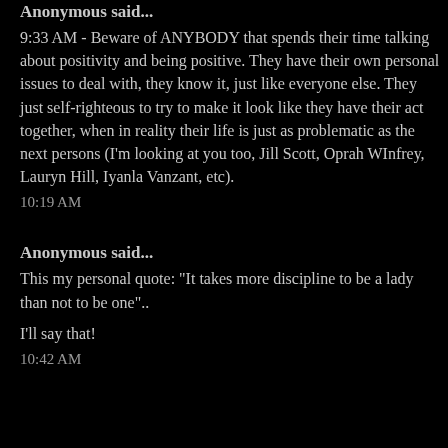Anonymous said...
9:33 AM - Beware of ANYBODY that spends their time talking about positivity and being positive. They have their own personal issues to deal with, they know it, just like everyone else. They just self-righteous to try to make it look like they have their act together, when in reality their life is just as problematic as the next persons (I'm looking at you too, Jill Scott, Oprah WInfrey, Lauryn Hill, Iyanla Vanzant, etc).
10:19 AM
Anonymous said...
This my personal quote: "It takes more discipline to be a lady than not to be one"..
I'll say that!
10:42 AM